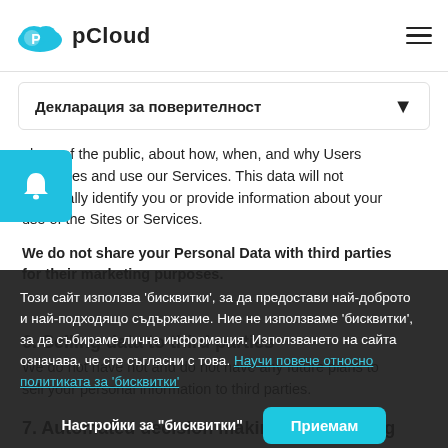pCloud
Декларация за поверителност
nbers of the public, about how, when, and why Users t our Sites and use our Services. This data will not personally identify you or provide information about your use of the Sites or Services.
We do not share your Personal Data with third parties for their marketing purposes.
6. Selling data to third parties
We do not have not and do not have any future plans to sell your personal information to third parties.
Този сайт използва 'бисквитки', за да предостави най-доброто и най-подходящо съдържание. Ние не използваме 'бисквитки', за да събираме лична информация. Използването на сайта означава, че сте съгласни с това. Научи повече относно политиката за 'бисквитки'
Настройки за "бисквитки"   Приемам
7. Automated decision making and profiling